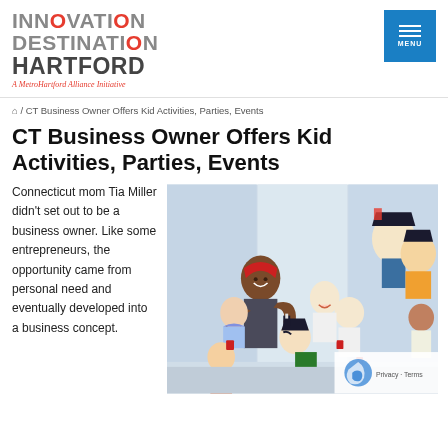[Figure (logo): Innovation Destination Hartford logo with tagline 'A MetroHartford Alliance Initiative']
[Figure (other): Blue menu button with three horizontal lines and MENU label]
🏠 / CT Business Owner Offers Kid Activities, Parties, Events
CT Business Owner Offers Kid Activities, Parties, Events
Connecticut mom Tia Miller didn't set out to be a business owner. Like some entrepreneurs, the opportunity came from personal need and eventually developed into a business concept.
[Figure (photo): Group photo of a woman and several children at a pirate-themed party with colorful backdrop featuring cartoon pirate characters. Children wearing pirate hats and accessories.]